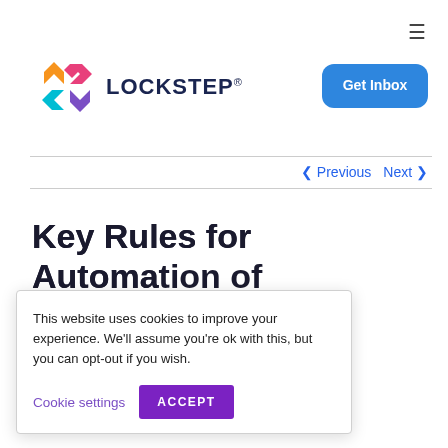≡
[Figure (logo): Lockstep logo: colorful X mark icon with LOCKSTEP® wordmark in dark blue bold text]
Get Inbox
< Previous   Next >
Key Rules for Automation of [Collections]
This website uses cookies to improve your experience. We'll assume you're ok with this, but you can opt-out if you wish.
Cookie settings  ACCEPT
edit process ules should stomers and best practices